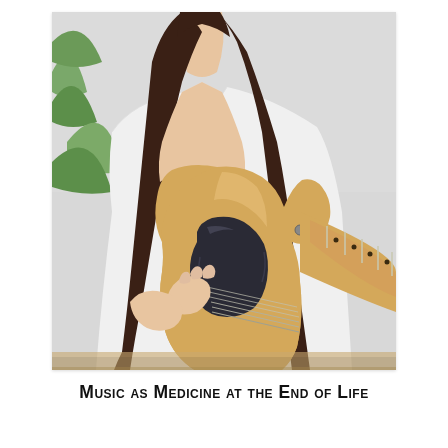[Figure (photo): A young woman with long dark hair wearing a white t-shirt playing a blonde electric guitar (Telecaster-style) with a black pearloid pickguard. She is looking down at the guitar. Green plant visible in background.]
Music as Medicine at the End of Life